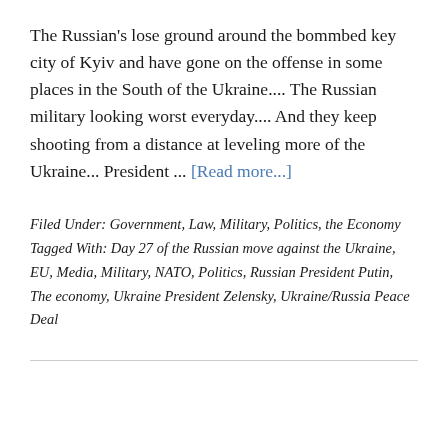The Russian's lose ground around the bommbed key city of Kyiv and have gone on the offense in some places in the South of the Ukraine.... The Russian military looking worst everyday.... And they keep shooting from a distance at leveling more of the Ukraine... President ... [Read more...]
Filed Under: Government, Law, Military, Politics, the Economy Tagged With: Day 27 of the Russian move against the Ukraine, EU, Media, Military, NATO, Politics, Russian President Putin, The economy, Ukraine President Zelensky, Ukraine/Russia Peace Deal